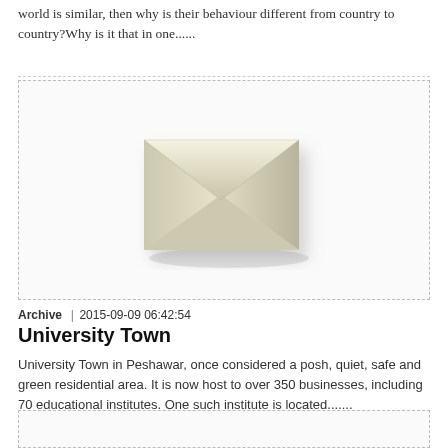world is similar, then why is their behaviour different from country to country?Why is it that in one......
[Figure (illustration): An envelope icon rendered in 3D with cream/ivory coloring, casting a shadow on a light grey background, inside a dashed-border card.]
Archive  |  2015-09-09 06:42:54
University Town
University Town in Peshawar, once considered a posh, quiet, safe and green residential area. It is now host to over 350 businesses, including 70 educational institutes. One such institute is located.......
[Figure (illustration): Partial view of another card with an envelope illustration at the bottom of the page, mostly cut off.]